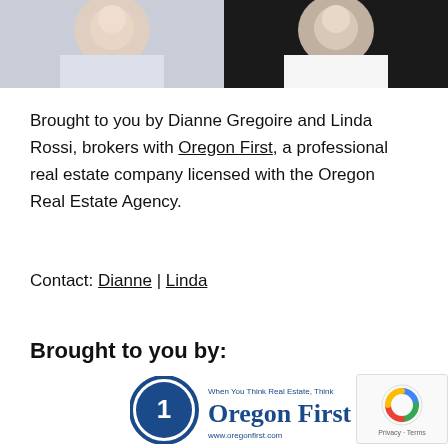[Figure (photo): Two professional headshots side by side: left person in light blue/white top with necklace against light background, right person in white top with dark jacket against dark background]
Brought to you by Dianne Gregoire and Linda Rossi, brokers with Oregon First, a professional real estate company licensed with the Oregon Real Estate Agency.
Contact: Dianne | Linda
Brought to you by:
[Figure (logo): Oregon First real estate logo with circular icon and text 'When You Think Real Estate, Think Oregon First www.oregonfirst.com']